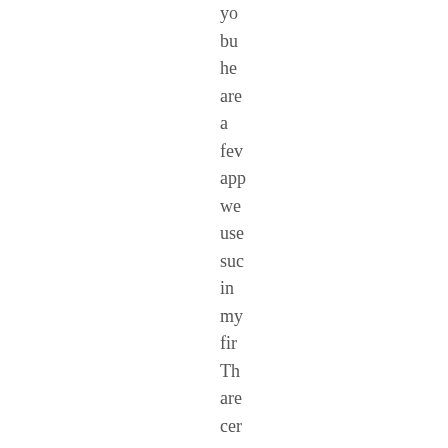you but her are a few app we use such in my fir Th are cer wo che out